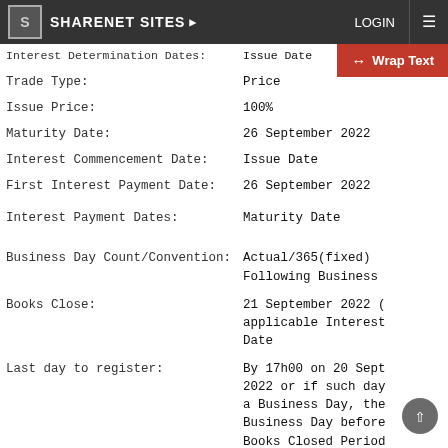SHARENET SITES ▶ | LOGIN | ☰
| Field | Value |
| --- | --- |
| Interest Determination Dates: | Issue Date |
| Trade Type: | Price |
| Issue Price: | 100% |
| Maturity Date: | 26 September 2022 |
| Interest Commencement Date: | Issue Date |
| First Interest Payment Date: | 26 September 2022 |
| Interest Payment Dates: | Maturity Date |
| Business Day Count/Convention: | Actual/365(fixed) Following Business |
| Books Close: | 21 September 2022 ( applicable Interest Date |
| Last day to register: | By 17h00 on 20 Sept 2022 or if such day a Business Day, the Business Day before Books Closed Period the Maturity Date |
| Placement Agent: | The Standard Bank |
⬆